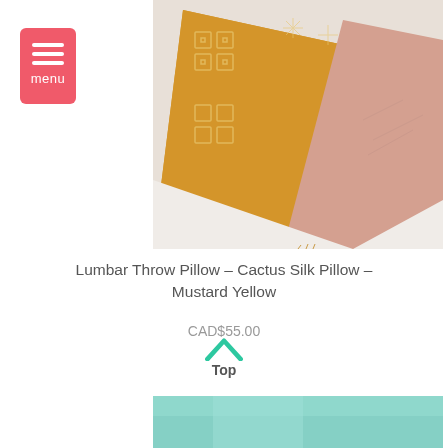[Figure (screenshot): Menu button with red/coral background and three white horizontal lines above the word 'menu']
[Figure (photo): Close-up photo of decorative throw pillows: a mustard yellow cactus silk pillow with geometric embroidered pattern in front, and a pink pillow behind, on a white background]
Lumbar Throw Pillow – Cactus Silk Pillow – Mustard Yellow
CAD$55.00
Top
[Figure (photo): Partial photo of another product (teal/mint colored item) visible at the bottom of the page]